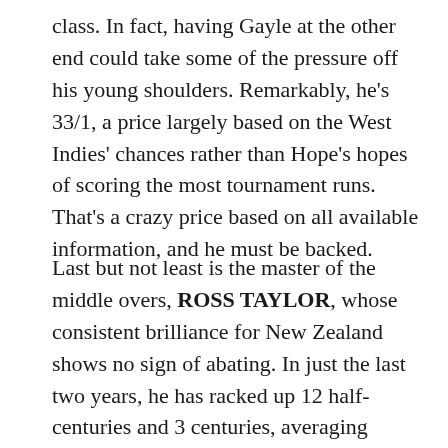class. In fact, having Gayle at the other end could take some of the pressure off his young shoulders. Remarkably, he's 33/1, a price largely based on the West Indies' chances rather than Hope's hopes of scoring the most tournament runs. That's a crazy price based on all available information, and he must be backed.
Last but not least is the master of the middle overs, ROSS TAYLOR, whose consistent brilliance for New Zealand shows no sign of abating. In just the last two years, he has racked up 12 half-centuries and 3 centuries, averaging 56.39 per each of his 31 innings. Taylor is likely to come in at number four in the Black Caps' order, but given their struggle to